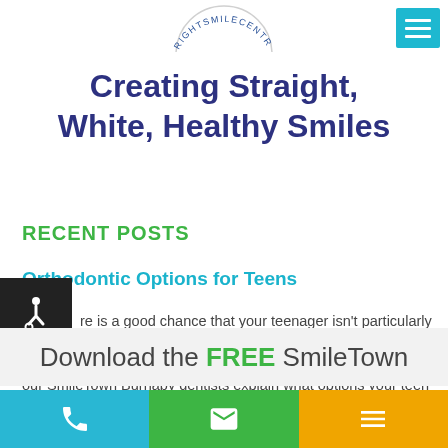[Figure (logo): Partial circular logo with text RIGHTSMILECENTRES arcing around the top]
[Figure (other): Teal/cyan hamburger menu button in top-right corner]
Creating Straight, White, Healthy Smiles
RECENT POSTS
Orthodontic Options for Teens
re is a good chance that your teenager isn't particularly thrilled about ing braces put in. Luckily, orthodontics has come a long way and, these days, there are a number of treatment options available. Here, our SmileTown Burnaby dentists explain what options your teen has for their orthodontic treatment.
Download the FREE SmileTown
[Figure (other): Bottom navigation bar with phone icon (teal), email icon (green), and menu icon (orange/yellow)]